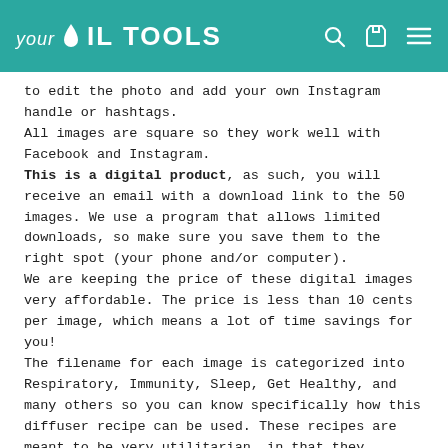your OIL TOOLS
to edit the photo and add your own Instagram handle or hashtags.
All images are square so they work well with Facebook and Instagram.
This is a digital product, as such, you will receive an email with a download link to the 50 images. We use a program that allows limited downloads, so make sure you save them to the right spot (your phone and/or computer).
We are keeping the price of these digital images very affordable. The price is less than 10 cents per image, which means a lot of time savings for you!
The filename for each image is categorized into Respiratory, Immunity, Sleep, Get Healthy, and many others so you can know specifically how this diffuser recipe can be used. These recipes are meant to be very utilitarian, in that they address specific issues. We try to use very compliant terminology.